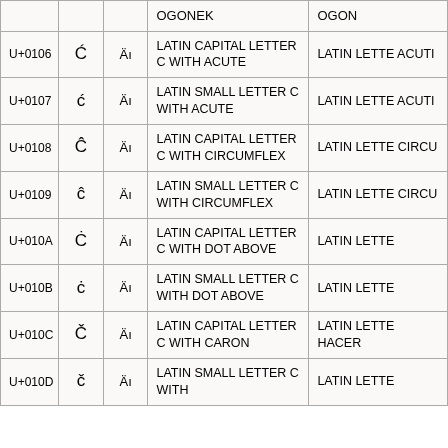|  |  |  | OGONEK | OGON... |
| --- | --- | --- | --- | --- |
| U+0106 | Ć | Äı | LATIN CAPITAL LETTER C WITH ACUTE | LATIN LETTE ACUTI |
| U+0107 | ć | Äı | LATIN SMALL LETTER C WITH ACUTE | LATIN LETTE ACUTI |
| U+0108 | Ĉ | Äı | LATIN CAPITAL LETTER C WITH CIRCUMFLEX | LATIN LETTE CIRCU |
| U+0109 | ĉ | Äı | LATIN SMALL LETTER C WITH CIRCUMFLEX | LATIN LETTE CIRCU |
| U+010A | Ċ | Äı | LATIN CAPITAL LETTER C WITH DOT ABOVE | LATIN LETTE |
| U+010B | ċ | Äı | LATIN SMALL LETTER C WITH DOT ABOVE | LATIN LETTE |
| U+010C | Č | Äı | LATIN CAPITAL LETTER C WITH CARON | LATIN LETTE HACER |
| U+010D | č | Äı | LATIN SMALL LETTER C WITH | LATIN LETTE |